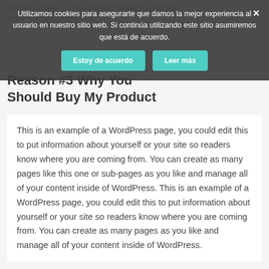as many pages as you like and manage all of your content inside of WordPress.
Reason #3 Why You Should Buy My Product
[Figure (screenshot): Cookie consent banner overlay with Spanish text: 'Utilizamos cookies para asegurarte que damos la mejor experiencia al usuario en nuestro sitio web. Si continúa utilizando este sitio asumiremos que está de acuerdo.' with two buttons: 'Estoy de acuerdo' and 'Leer más', and a close (×) button.]
This is an example of a WordPress page, you could edit this to put information about yourself or your site so readers know where you are coming from. You can create as many pages like this one or sub-pages as you like and manage all of your content inside of WordPress. This is an example of a WordPress page, you could edit this to put information about yourself or your site so readers know where you are coming from. You can create as many pages as you like and manage all of your content inside of WordPress.